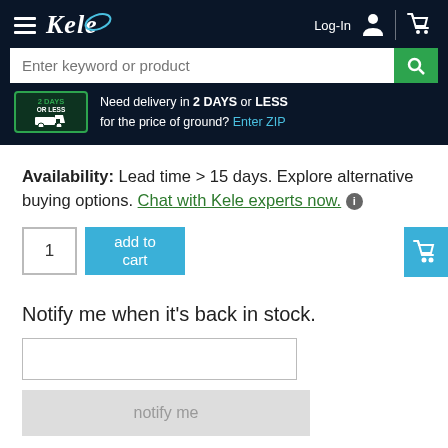Kele — Log-In [cart icon] | Search bar: Enter keyword or product
Need delivery in 2 DAYS or LESS for the price of ground? Enter ZIP
Availability: Lead time > 15 days. Explore alternative buying options. Chat with Kele experts now. ℹ
1 [qty input] add to cart [button]
Notify me when it's back in stock.
[email input field]
notify me [button]
Opting in means you agree with Kele's Privacy Policy